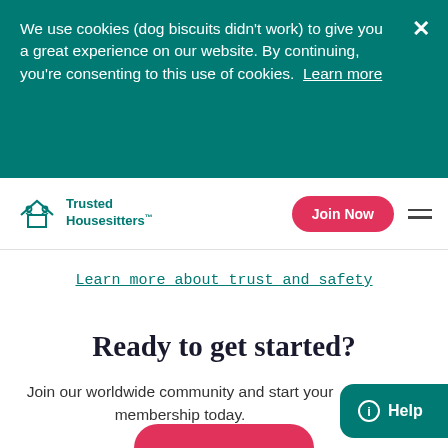We use cookies (dog biscuits didn't work) to give you a great experience on our website. By continuing, you're consenting to this use of cookies. Learn more
Trusted Housesitters™
Learn more about trust and safety
Ready to get started?
Join our worldwide community and start your membership today.